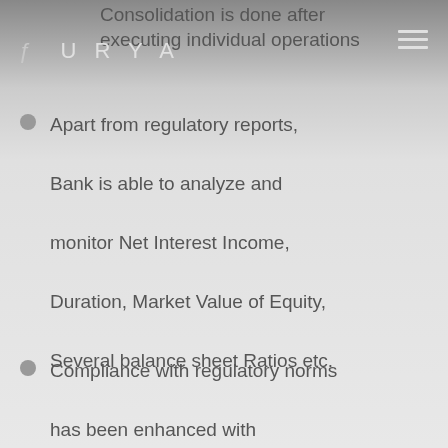Consolidation is done after executing individual operations
Apart from regulatory reports, Bank is able to analyze and monitor Net Interest Income, Duration, Market Value of Equity, Several balance sheet Ratios etc.
Compliance with regulatory norms has been enhanced with increased accuracy and